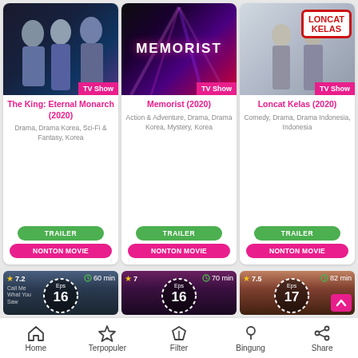[Figure (screenshot): TV show card: The King: Eternal Monarch (2020) with TV Show badge, cast image]
The King: Eternal Monarch (2020)
Drama, Drama Korea, Sci-Fi & Fantasy, Korea
TRAILER
NONTON MOVIE
[Figure (screenshot): TV show card: Memorist (2020) with MEMORIST title overlay and TV Show badge]
Memorist (2020)
Action & Adventure, Drama, Drama Korea, Mystery, Korea
TRAILER
NONTON MOVIE
[Figure (screenshot): TV show card: Loncat Kelas (2020) with LONCAT KELAS logo and TV Show badge]
Loncat Kelas (2020)
Comedy, Drama, Drama Indonesia, Indonesia
TRAILER
NONTON MOVIE
[Figure (screenshot): Thumbnail: rating 7.2, 60 min, Eps 16]
[Figure (screenshot): Thumbnail: rating 7, 70 min, Eps 16]
[Figure (screenshot): Thumbnail: rating 7.5, 82 min, Eps 17]
Home  Terpopuler  Filter  Bingung  Share